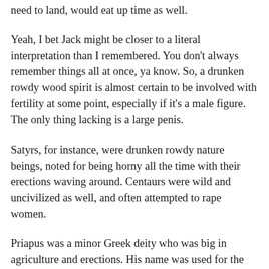need to land, would eat up time as well.
Yeah, I bet Jack might be closer to a literal interpretation than I remembered. You don't always remember things all at once, ya know. So, a drunken rowdy wood spirit is almost certain to be involved with fertility at some point, especially if it's a male figure. The only thing lacking is a large penis.
Satyrs, for instance, were drunken rowdy nature beings, noted for being horny all the time with their erections waving around. Centaurs were wild and uncivilized as well, and often attempted to rape women.
Priapus was a minor Greek deity who was big in agriculture and erections. His name was used for the condition priapism, which is what they call it when you have an erection for too long (if you take Viagra and your erection lasts more than 4 hours, see a doctor...).